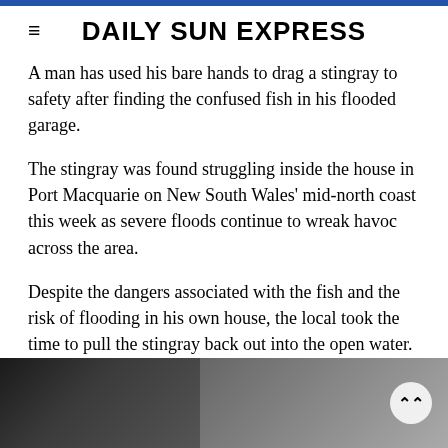DAILY SUN EXPRESS
A man has used his bare hands to drag a stingray to safety after finding the confused fish in his flooded garage.
The stingray was found struggling inside the house in Port Macquarie on New South Wales' mid-north coast this week as severe floods continue to wreak havoc across the area.
Despite the dangers associated with the fish and the risk of flooding in his own house, the local took the time to pull the stingray back out into the open water.
[Figure (photo): Partial view of a black and white photo at the bottom of the page, showing a person or object near water, partially cut off.]